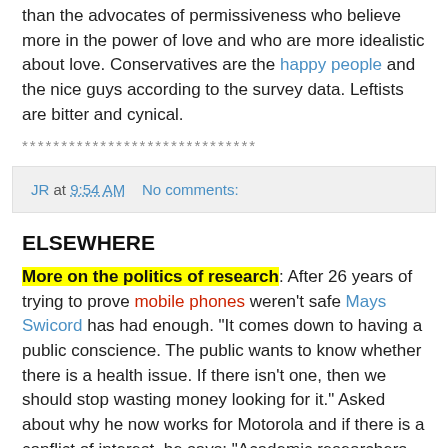than the advocates of permissiveness who believe more in the power of love and who are more idealistic about love. Conservatives are the happy people and the nice guys according to the survey data. Leftists are bitter and cynical.
******************************
JR at 9:54 AM    No comments:
ELSEWHERE
More on the politics of research: After 26 years of trying to prove mobile phones weren't safe Mays Swicord has had enough. "It comes down to having a public conscience. The public wants to know whether there is a health issue. If there isn't one, then we should stop wasting money looking for it." Asked about why he now works for Motorola and if there is a conflict of interest, he says: "Academic researchers also have a conflict of interest in that they want to promote their own research. So one has to look at what makes sense in